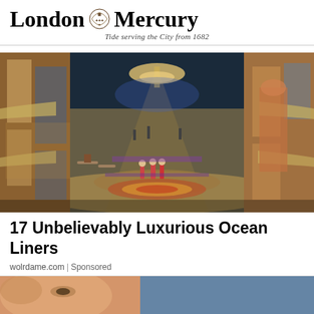London Mercury — Tide serving the City from 1682
[Figure (photo): Interior atrium of a luxury cruise ship showing a wide promenade deck with ornate decor, circular mosaic floor, multiple levels of balconies, passengers walking, cafe seating areas, and colorful decorations including a large chandelier in the background.]
17 Unbelievably Luxurious Ocean Liners
wolrdame.com | Sponsored
[Figure (photo): Partial bottom image showing a close-up of a person's face on the left and a blue background on the right, partially visible at the bottom of the page.]